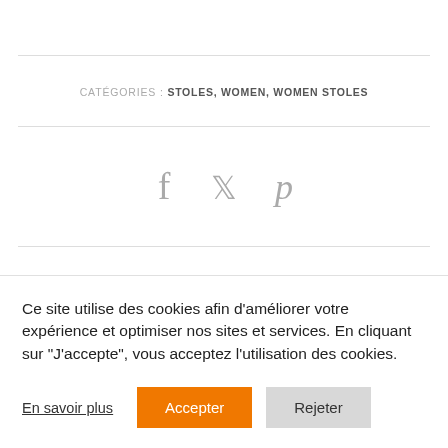CATÉGORIES : STOLES, WOMEN, WOMEN STOLES
[Figure (infographic): Social media share icons: Facebook (f), Twitter (bird), Pinterest (P)]
Ce site utilise des cookies afin d'améliorer votre expérience et optimiser nos sites et services. En cliquant sur "J'accepte", vous acceptez l'utilisation des cookies.
En savoir plus   Accepter   Rejeter